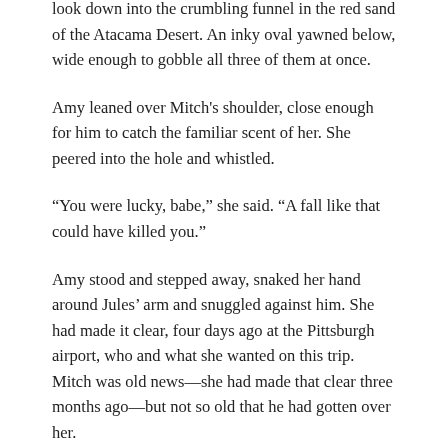look down into the crumbling funnel in the red sand of the Atacama Desert. An inky oval yawned below, wide enough to gobble all three of them at once.
Amy leaned over Mitch's shoulder, close enough for him to catch the familiar scent of her. She peered into the hole and whistled.
“You were lucky, babe,” she said. “A fall like that could have killed you.”
Amy stood and stepped away, snaked her hand around Jules’ arm and snuggled against him. She had made it clear, four days ago at the Pittsburgh airport, who and what she wanted on this trip. Mitch was old news—she had made that clear three months ago—but not so old that he had gotten over her.
Jules hadn’t told Mitch Amy was joining them on the spring break trip to Chile, and hadn’t given Mitch a chance